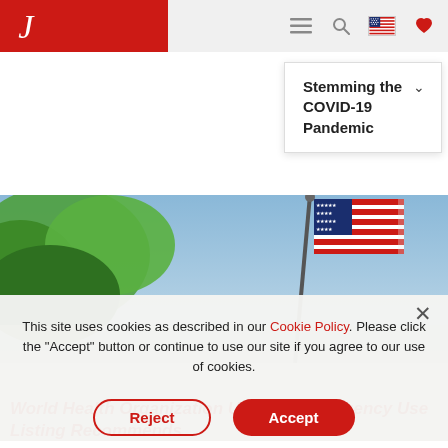J [logo] — navigation header with menu, search, flag, heart icons
Stemming the COVID-19 Pandemic
[Figure (photo): Outdoor photo showing an American flag on a flagpole against a blue sky with green tree foliage visible at left]
This site uses cookies as described in our Cookie Policy. Please click the "Accept" button or continue to use our site if you agree to our use of cookies.
World Health Organization Updated Emergency Use Listing Recommends
Reject
Accept